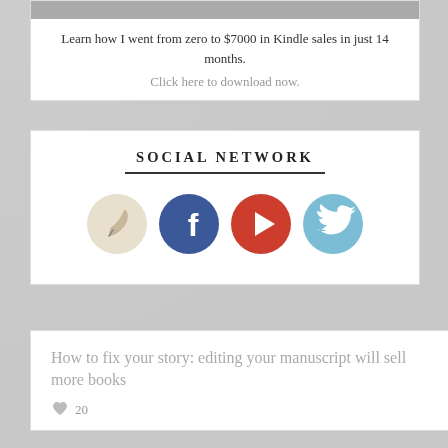[Figure (other): Gray image placeholder at top of card]
Learn how I went from zero to $7000 in Kindle sales in just 14 months.
Click here to download now.
SOCIAL NETWORK
[Figure (infographic): Four social network icons: a feather/pen icon (cream), Facebook (blue), a red play button circle, and Twitter (light blue)]
How to fix your story: editing your manuscript will sell more books
20